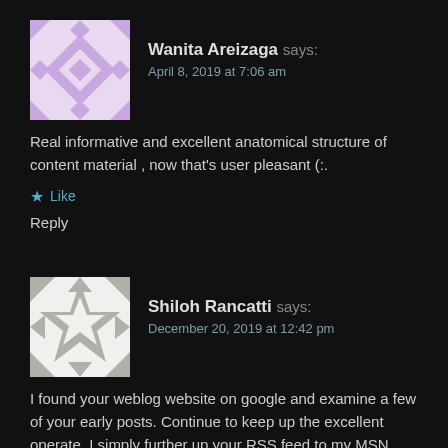[Figure (illustration): Purple geometric diamond pattern avatar for user Wanita Areizaga]
Wanita Areizaga says:
April 8, 2019 at 7:06 am
Real informative and excellent anatomical structure of content material , now that’s user pleasant (:.
★ Like
Reply
[Figure (illustration): Gray geometric snowflake/star pattern avatar for user Shiloh Rancatti]
Shiloh Rancatti says:
December 20, 2019 at 12:42 pm
I found your weblog website on google and examine a few of your early posts. Continue to keep up the excellent operate. I simply further up your RSS feed to my MSN News Reader. Seeking forward to studying extra from you in a while!â¦
★ Like